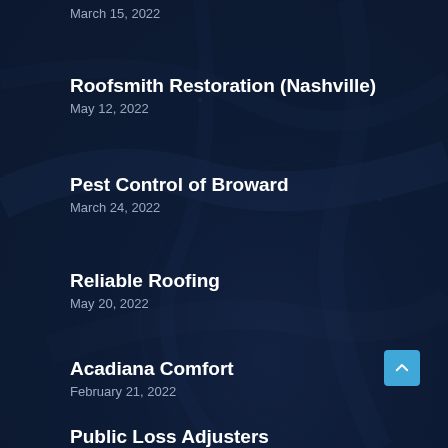March 15, 2022
Roofsmith Restoration (Nashville)
May 12, 2022
Pest Control of Broward
March 24, 2022
Reliable Roofing
May 20, 2022
Acadiana Comfort
February 21, 2022
Public Loss Adjusters
March 2, 2022